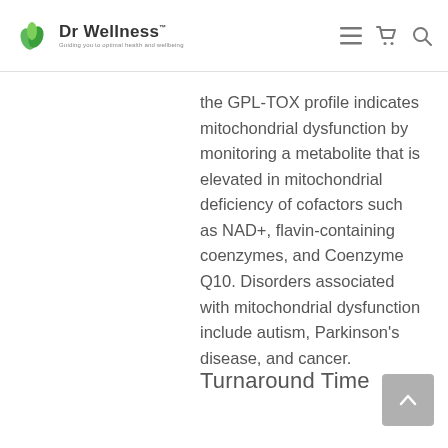Dr Wellness — Guiding you to optimal health and wellbeing
the GPL-TOX profile indicates mitochondrial dysfunction by monitoring a metabolite that is elevated in mitochondrial deficiency of cofactors such as NAD+, flavin-containing coenzymes, and Coenzyme Q10. Disorders associated with mitochondrial dysfunction include autism, Parkinson's disease, and cancer.
Turnaround Time